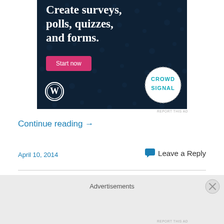[Figure (illustration): Dark navy blue advertisement banner for Crowd Signal / WordPress showing text 'Create surveys, polls, quizzes, and forms.' with a pink 'Start now' button, WordPress logo on bottom left, and Crowdsignal circular logo on bottom right]
REPORT THIS AD
Continue reading →
April 10, 2014
💬 Leave a Reply
Advertisements
REPORT THIS AD